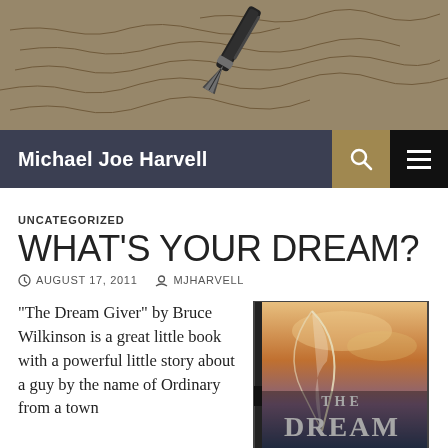[Figure (photo): Close-up photo of a fountain pen nib resting on handwritten script/letter paper, sepia-toned, with cursive handwriting visible in the background.]
Michael Joe Harvell
UNCATEGORIZED
WHAT'S YOUR DREAM?
AUGUST 17, 2011   MJHARVELL
“The Dream Giver” by Bruce Wilkinson is a great little book with a powerful little story about a guy by the name of Ordinary from a town
[Figure (photo): Book cover of 'The Dream Giver' showing a feather quill against a dramatic sky background, with large stylized text reading THE DREAM.]